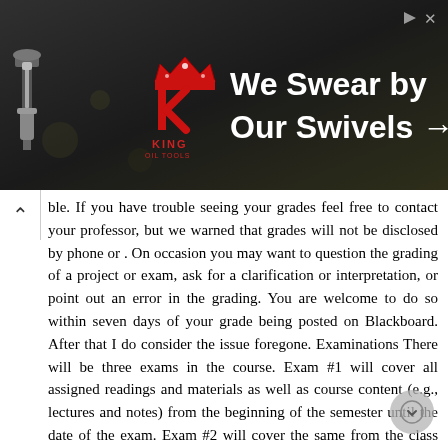[Figure (illustration): Advertisement banner for King Oil Tools: 'We Swear by Our Swivels →' with logo showing a crown and the letter K, on a dark background. Arrow/X close icons in top right corner.]
ble. If you have trouble seeing your grades feel free to contact your professor, but we warned that grades will not be disclosed by phone or . On occasion you may want to question the grading of a project or exam, ask for a clarification or interpretation, or point out an error in the grading. You are welcome to do so within seven days of your grade being posted on Blackboard. After that I do consider the issue foregone. Examinations There will be three exams in the course. Exam #1 will cover all assigned readings and materials as well as course content (e.g., lectures and notes) from the beginning of the semester until the date of the exam. Exam #2 will cover the same from the class following the first exam until the date of the second exam. The final exam will be comprehensive and will cover all assigned readings, materials, lectures, etc. for the entire quarter. The format of the exams will include one or more of the following: short answer, fill-in-theblank, true/false, and multiple choice questions, as well as